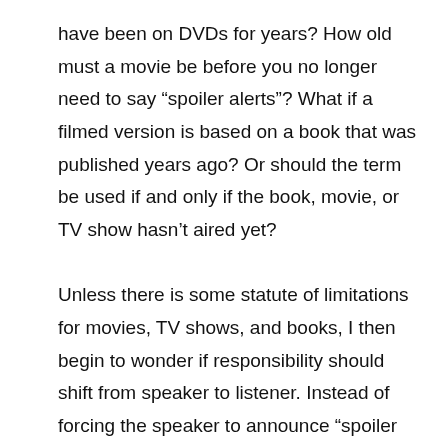have been on DVDs for years? How old must a movie be before you no longer need to say “spoiler alerts”? What if a filmed version is based on a book that was published years ago? Or should the term be used if and only if the book, movie, or TV show hasn’t aired yet?

Unless there is some statute of limitations for movies, TV shows, and books, I then begin to wonder if responsibility should shift from speaker to listener. Instead of forcing the speaker to announce “spoiler alerts” before discussing books, movies, or TV shows (and then keeping track of what friends have seen or read), maybe the burden should shift to the listener. Maybe he or she should actively avoid discussions of books, movies, or TV shows that he or she doesn’t want spoiled, or be the one to call out